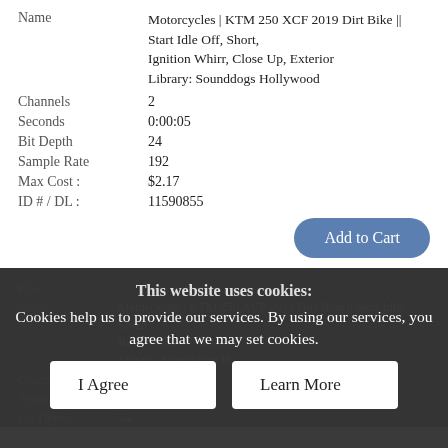| Field | Value |
| --- | --- |
| Name | Motorcycles | KTM 250 XCF 2019 Dirt Bike || Start Idle Off, Short, Ignition Whirr, Close Up, Exterior
Library: Sounddogs Hollywood |
| Channels | 2 |
| Seconds | 0:00:05 |
| Bit Depth | 24 |
| Sample Rate | 192 |
| Max Cost : | $2.17 |
| ID # / DL : | 11590855 |
Add to Cart
This website uses cookies:
Cookies help us to provide our services. By using our services, you agree that we may set cookies.
I Agree
Learn More
| Field | Value |
| --- | --- |
| Play |  |
| Name | Motorcycles | KTM 250 XCF 2019 Dirt Bike || Start Idle, Small Revs, ... Whi... Exterior
Library: Sounddogs Ho... |
| Channels | 2 |
| Seconds | 0:00:22 |
| Bit Depth | 24 |